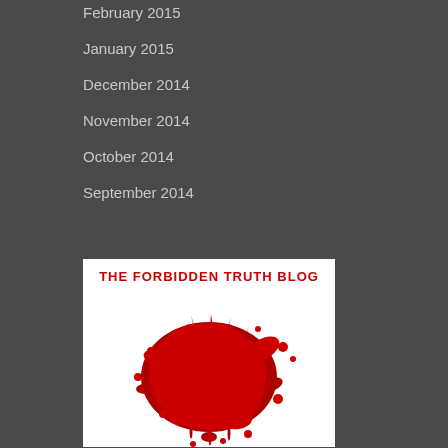February 2015
January 2015
December 2014
November 2014
October 2014
September 2014
[Figure (illustration): The Forbidden Truth Blog logo: white background with red dripping/splatter text at top reading 'THE FORBIDDEN TRUTH BLOG' and a large red blood splatter in the center]